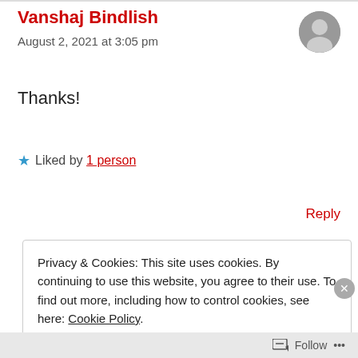Vanshaj Bindlish
August 2, 2021 at 3:05 pm
Thanks!
★ Liked by 1 person
Reply
Privacy & Cookies: This site uses cookies. By continuing to use this website, you agree to their use. To find out more, including how to control cookies, see here: Cookie Policy
Close and accept
Follow ...